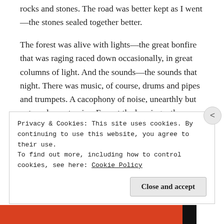rocks and stones. The road was better kept as I went —the stones sealed together better.
The forest was alive with lights—the great bonfire that was raging raced down occasionally, in great columns of light. And the sounds—the sounds that night. There was music, of course, drums and pipes and trumpets. A cacophony of noise, unearthly but not unpleasant noise. Except the braying—there was the occasional bray of some no doubt terrified donkey.
Privacy & Cookies: This site uses cookies. By continuing to use this website, you agree to their use.
To find out more, including how to control cookies, see here: Cookie Policy
Close and accept